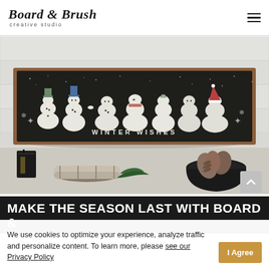Board & Brush creative studio
[Figure (photo): A wooden framed sign with a dark background featuring painted snowmen figures and the text 'WINTER WISHES', displayed on a shelf with a black lantern, birch logs, pine branches, and a black bowl with pine cones.]
MAKE THE SEASON LAST WITH BOARD &
We use cookies to optimize your experience, analyze traffic and personalize content. To learn more, please see our Privacy Policy
By Board & Brush · Posted December 20, 2021